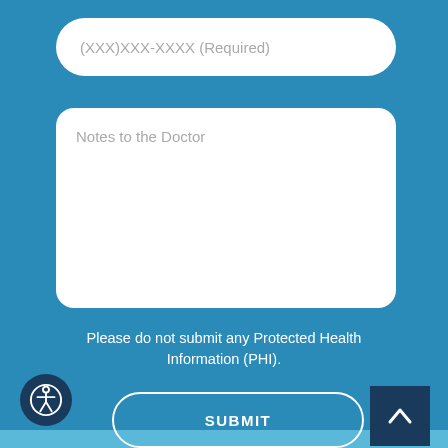(XXX)XXX-XXXX (Required)
Notes to the Doctor
Please do not submit any Protected Health Information (PHI).
SUBMIT
[Figure (illustration): Scroll to top arrow button (dark navy background with upward chevron arrow in white)]
[Figure (illustration): Accessibility icon button (circular dark navy background with white accessibility figure icon)]